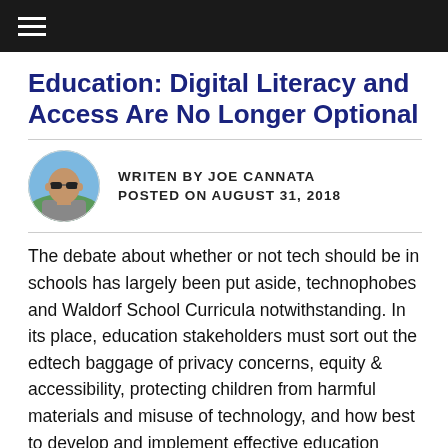≡
Education: Digital Literacy and Access Are No Longer Optional
[Figure (photo): Circular avatar photo of author Joe Cannata, a bald man wearing sunglasses, outdoors.]
WRITEN BY JOE CANNATA
POSTED ON AUGUST 31, 2018
The debate about whether or not tech should be in schools has largely been put aside, technophobes and Waldorf School Curricula notwithstanding. In its place, education stakeholders must sort out the edtech baggage of privacy concerns, equity & accessibility, protecting children from harmful materials and misuse of technology, and how best to develop and implement effective education technology integration strategies